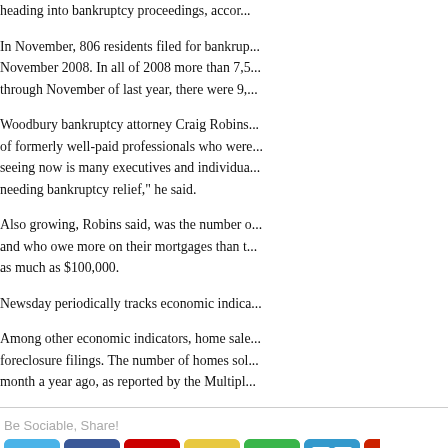heading into bankruptcy proceedings, accor...
In November, 806 residents filed for bankrup... November 2008. In all of 2008 more than 7,5... through November of last year, there were 9,...
Woodbury bankruptcy attorney Craig Robins... of formerly well-paid professionals who were... seeing now is many executives and individua... needing bankruptcy relief," he said.
Also growing, Robins said, was the number o... and who owe more on their mortgages than t... as much as $100,000.
Newsday periodically tracks economic indica...
Among other economic indicators, home sale... foreclosure filings. The number of homes sol... month a year ago, as reported by the Multipl...
Be Sociable, Share!
[Figure (infographic): Social sharing icons: Twitter, Facebook, Email, Favorites (star), StumbleUpon, Delicious, and a partially visible icon]
[Figure (infographic): Tweet button with Twitter bird icon]
The Issues to Consider i...